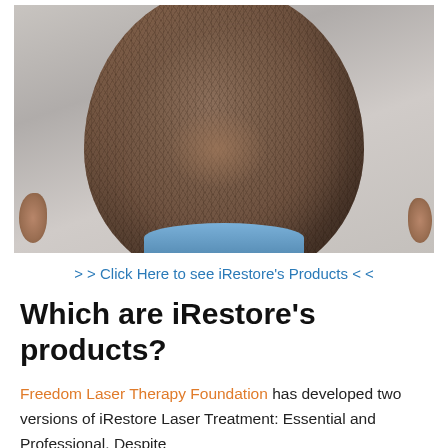[Figure (photo): Close-up top-down view of a man's head showing significant hair thinning and baldness pattern on the crown area, with dark short hair around the sides and back.]
> > Click Here to see iRestore's Products < <
Which are iRestore's products?
Freedom Laser Therapy Foundation has developed two versions of iRestore Laser Treatment: Essential and Professional. Despite